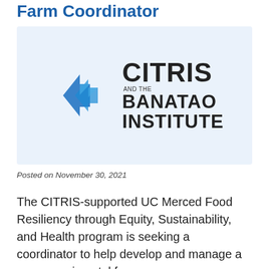Farm Coordinator
[Figure (logo): CITRIS and the Banatao Institute logo on a light blue background. Features a stylized blue angular chevron/arrow icon on the left, and text on the right reading 'CITRIS' in large bold black letters, 'AND THE' in small text, 'BANATAO' in large bold black letters, and 'INSTITUTE' in large bold black letters.]
Posted on November 30, 2021
The CITRIS-supported UC Merced Food Resiliency through Equity, Sustainability, and Health program is seeking a coordinator to help develop and manage a new experimental farm.